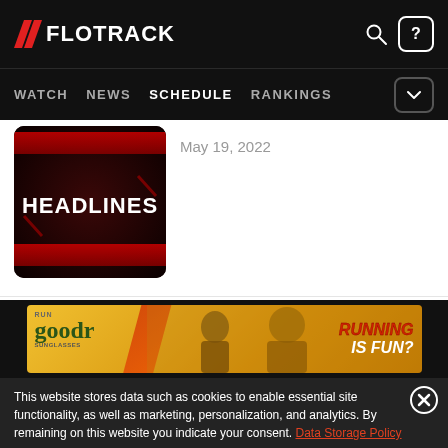FLOTRACK — WATCH  NEWS  SCHEDULE  RANKINGS
[Figure (screenshot): HEADLINES thumbnail image with red and black background]
May 19, 2022
[Figure (photo): Run goodr Sunglasses advertisement banner — RUNNING IS FUN?]
This website stores data such as cookies to enable essential site functionality, as well as marketing, personalization, and analytics. By remaining on this website you indicate your consent. Data Storage Policy